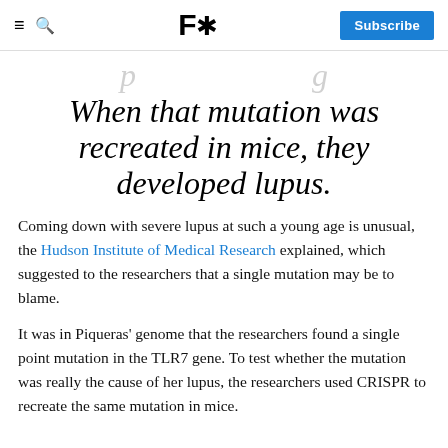F* Subscribe
When that mutation was recreated in mice, they developed lupus.
Coming down with severe lupus at such a young age is unusual, the Hudson Institute of Medical Research explained, which suggested to the researchers that a single mutation may be to blame.
It was in Piqueras' genome that the researchers found a single point mutation in the TLR7 gene. To test whether the mutation was really the cause of her lupus, the researchers used CRISPR to recreate the same mutation in mice.